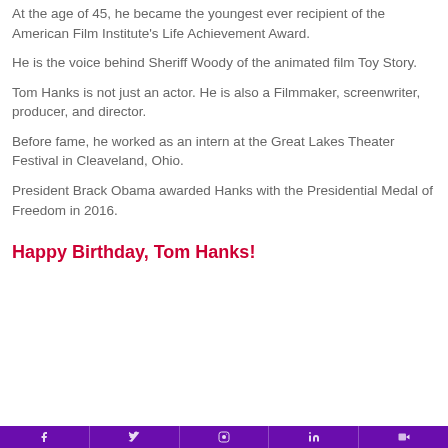At the age of 45, he became the youngest ever recipient of the American Film Institute's Life Achievement Award.
He is the voice behind Sheriff Woody of the animated film Toy Story.
Tom Hanks is not just an actor. He is also a Filmmaker, screenwriter, producer, and director.
Before fame, he worked as an intern at the Great Lakes Theater Festival in Cleaveland, Ohio.
President Brack Obama awarded Hanks with the Presidential Medal of Freedom in 2016.
Happy Birthday, Tom Hanks!
[social media icons bar]